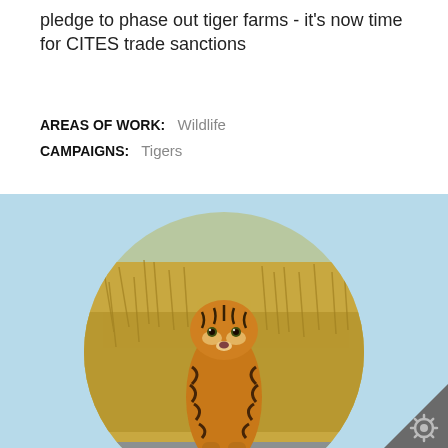pledge to phase out tiger farms - it's now time for CITES trade sanctions
AREAS OF WORK:   Wildlife
CAMPAIGNS:   Tigers
[Figure (photo): A tiger walking through dry grassland, shown in a circular crop on a light blue background. A small gear/settings icon appears in the bottom-right corner triangle.]